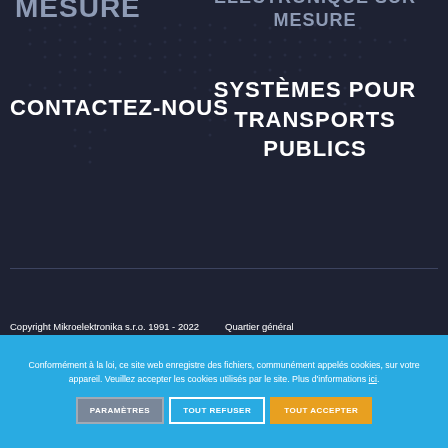MESURE
ELECTRONIQUE SUR MESURE
CONTACTEZ-NOUS
SYSTÈMES POUR TRANSPORTS PUBLICS
Copyright Mikroelektronika s.r.o. 1991 - 2022
Quartier général
Conformément à la loi, ce site web enregistre des fichiers, communément appelés cookies, sur votre appareil. Veuillez accepter les cookies utilisés par le site. Plus d'informations ici.
PARAMÈTRES
TOUT REFUSER
TOUT ACCEPTER